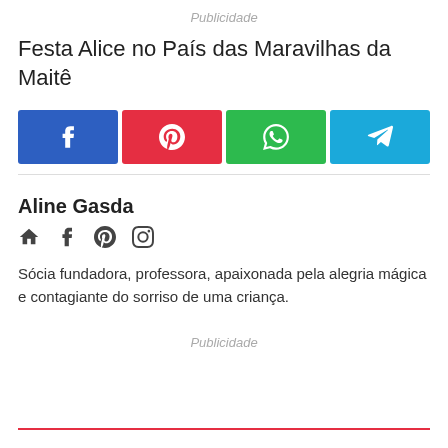Publicidade
Festa Alice no País das Maravilhas da Maitê
[Figure (infographic): Four social share buttons: Facebook (blue), Pinterest (red), WhatsApp (green), Telegram (light blue), each with their respective icons in white.]
Aline Gasda
[Figure (infographic): Four author social icons: home/website, Facebook, Pinterest, Instagram]
Sócia fundadora, professora, apaixonada pela alegria mágica e contagiante do sorriso de uma criança.
Publicidade